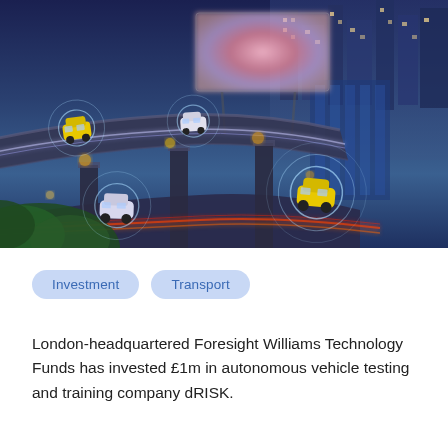[Figure (photo): Aerial night/dusk view of an elevated highway interchange with cars showing motion blur light trails, overlaid with glowing circular connectivity rings depicting autonomous vehicle technology. City buildings visible in background on the right, green foliage on the lower left, and a large blurred billboard in the upper center.]
Investment
Transport
London-headquartered Foresight Williams Technology Funds has invested £1m in autonomous vehicle testing and training company dRISK.